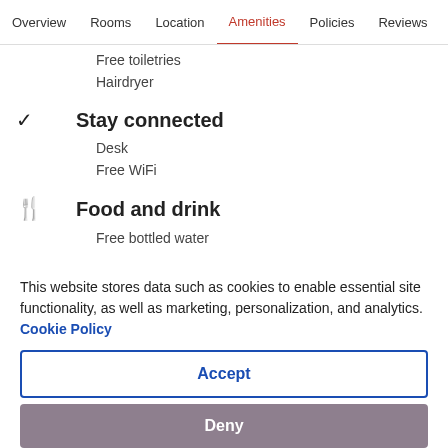Overview  Rooms  Location  Amenities  Policies  Reviews
Free toiletries
Hairdryer
Stay connected
Desk
Free WiFi
Food and drink
Free bottled water
This website stores data such as cookies to enable essential site functionality, as well as marketing, personalization, and analytics. Cookie Policy
Accept
Deny